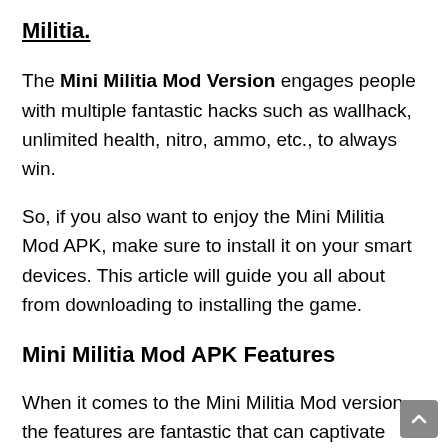Militia.
The Mini Militia Mod Version engages people with multiple fantastic hacks such as wallhack, unlimited health, nitro, ammo, etc., to always win.
So, if you also want to enjoy the Mini Militia Mod APK, make sure to install it on your smart devices. This article will guide you all about from downloading to installing the game.
Mini Militia Mod APK Features
When it comes to the Mini Militia Mod version, the features are fantastic that can captivate your mind. Some of its main features will be discussed, which 100% assures your winning in this action game, even if you